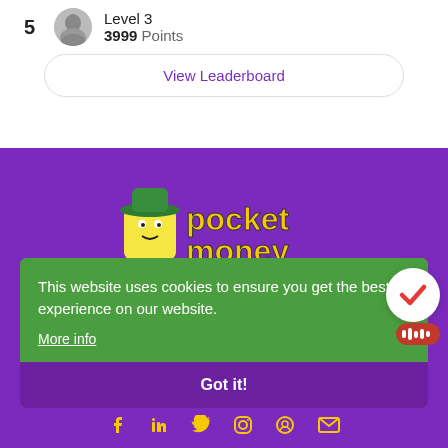5
Level 3
3999 Points
View Leaderboard
[Figure (logo): Pocket Money logo with yellow cartoon character wearing green hat and yellow/green text reading 'pocket money' on purple background]
This website uses cookies to ensure you get the best experience on our website.
More info
Got it!